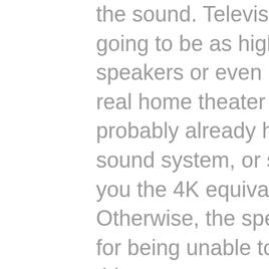the sound. Television speakers are rarely going to be as high quality as dedicated speakers or even HD headphones. If you're a real home theater enthusiast then you probably already have a soundbar, a surround sound system, or something prepared to give you the 4K equivalent of fidelity audio. Otherwise, the speakers may underwhelm you for being unable to keep up with the power of this screen.